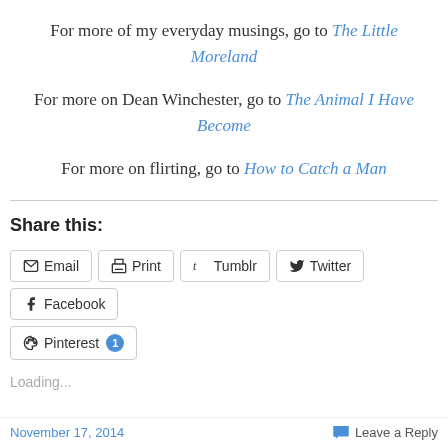For more of my everyday musings, go to The Little Moreland
For more on Dean Winchester, go to The Animal I Have Become
For more on flirting, go to How to Catch a Man
Share this:
Email  Print  Tumblr  Twitter  Facebook  Pinterest 1
Loading...
November 17, 2014    Leave a Reply